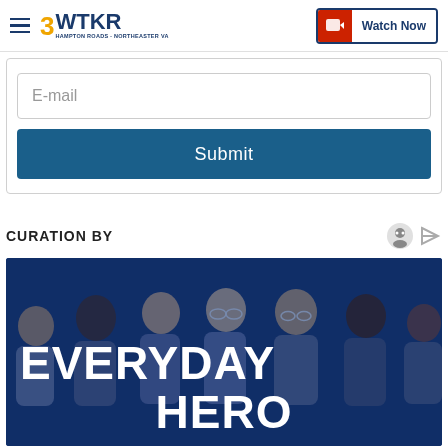3WTKR — Watch Now
E-mail
Submit
CURATION BY
[Figure (photo): Group photo of diverse smiling people with overlay text reading EVERYDAY HERO on a blue-tinted background, representing the WTKR Everyday Hero segment.]